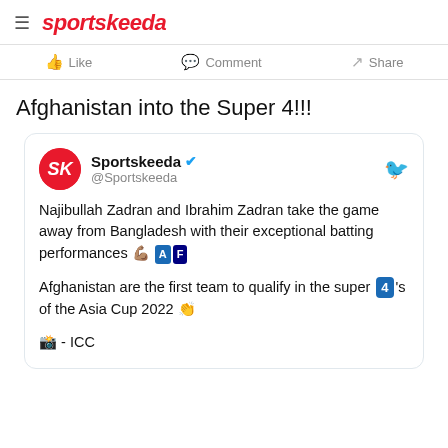sportskeeda
Like  Comment  Share
Afghanistan into the Super 4!!!
[Figure (screenshot): Embedded tweet from @Sportskeeda with verified badge and Twitter bird icon. Tweet text: Najibullah Zadran and Ibrahim Zadran take the game away from Bangladesh with their exceptional batting performances 💪🏽🇦🇫 Afghanistan are the first team to qualify in the super 4's of the Asia Cup 2022 👏 📸 - ICC]